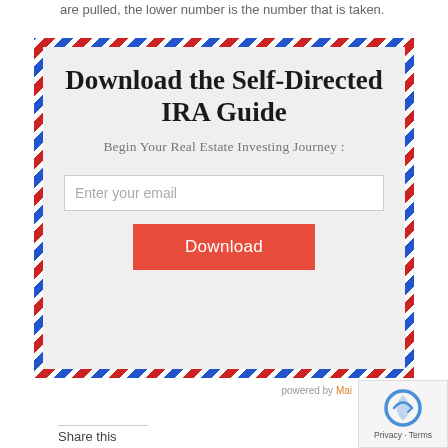are pulled, the lower number is the number that is taken.
[Figure (infographic): Airmail-style bordered box with 'Download the Self-Directed IRA Guide', subtitle 'Begin Your Real Estate Investing Journey :', an email input field, and a red Download button. Powered by MailChimp branding below.]
powered by Mai...
Share this